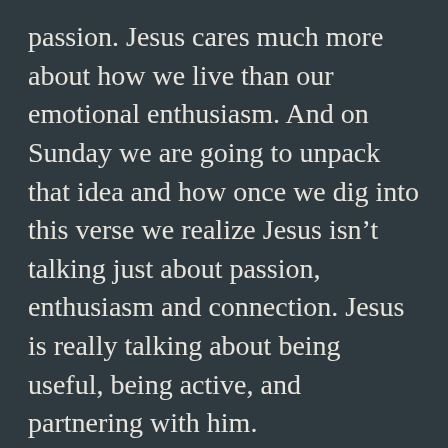passion. Jesus cares much more about how we live than our emotional enthusiasm. And on Sunday we are going to unpack that idea and how once we dig into this verse we realize Jesus isn't talking just about passion, enthusiasm and connection. Jesus is really talking about being useful, being active, and partnering with him.
And on Sunday we are going to ask a really important question that is reflecting on even today. Rather than asking “how passionate are you for Jesus?”, we are going to be asking, “how active are you in following Jesus?”. So come Sunday we are going to be unpacking this whole passage realizing that it’s not just our passions Jesus is interested in but our